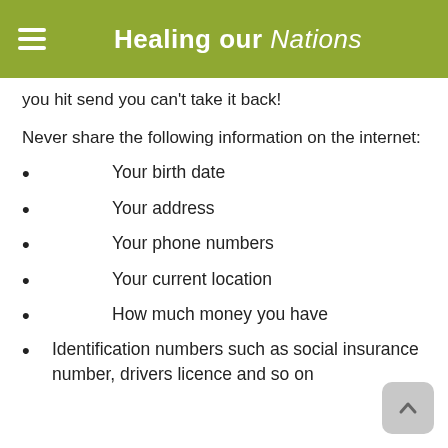Healing our Nations
you hit send you can't take it back!
Never share the following information on the internet:
Your birth date
Your address
Your phone numbers
Your current location
How much money you have
Identification numbers such as social insurance number, drivers licence and so on